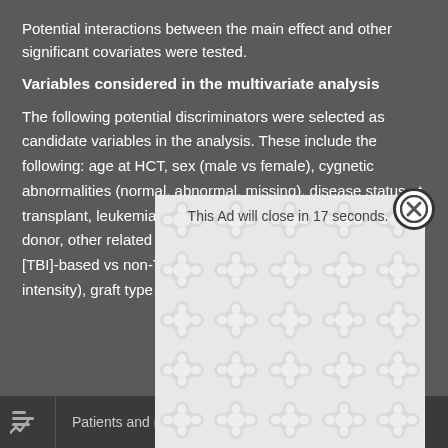Potential interactions between the main effect and other significant covariates were tested.
Variables considered in the multivariate analysis
The following potential discriminators were selected as candidate variables [partially obscured by ad]: age at HCT, sex [partially obscured], genetic abnormalities [partially obscured, missing), disease status [partially obscured], leukemia [partially obscured], ll-matched [partially obscured], her related d [partially obscured], adiation [TBI]-bas [partially obscured], myeloablative vs reduced intensity), graft type (peripheral
[Figure (screenshot): Advertisement overlay with repeating blob/molecule pattern in light grey and white, showing 'This Ad will close in 17 seconds.' text and a close button (X) in top right corner]
Patients and methods